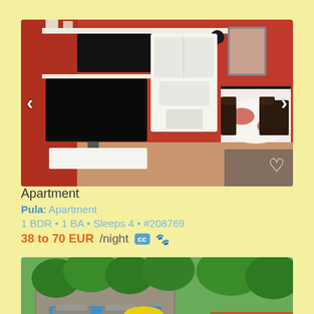[Figure (photo): Interior photo of apartment with red walls, flat screen TV, white shelving unit, and dining table with chairs]
Apartment
Pula: Apartment
1 BDR • 1 BA • Sleeps 4 • #208769
38 to 70 EUR/night
[Figure (photo): Aerial view of property with swimming pool, outdoor seating area with yellow umbrella, and surrounding garden]